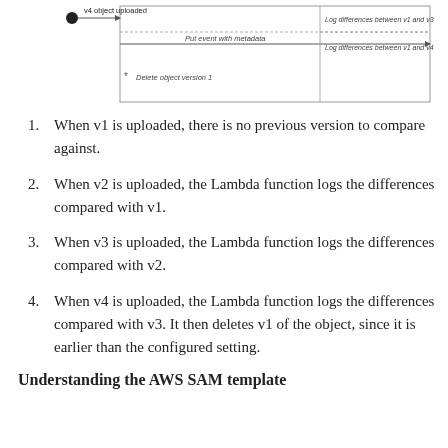[Figure (flowchart): Sequence diagram showing v4 object uploaded, Put event with metadata, Log differences between v1 and v2, Log differences between v1 and v4, Delete object version 1]
When v1 is uploaded, there is no previous version to compare against.
When v2 is uploaded, the Lambda function logs the differences compared with v1.
When v3 is uploaded, the Lambda function logs the differences compared with v2.
When v4 is uploaded, the Lambda function logs the differences compared with v3. It then deletes v1 of the object, since it is earlier than the configured setting.
Understanding the AWS SAM template